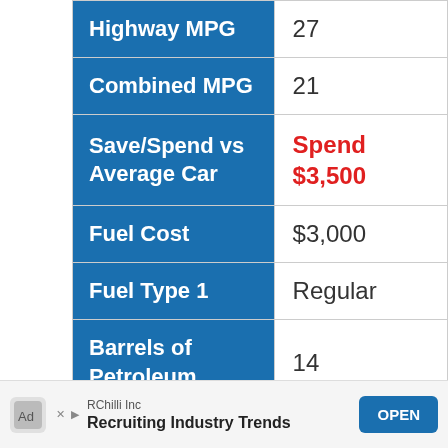| Attribute | Value |
| --- | --- |
| Highway MPG | 27 |
| Combined MPG | 21 |
| Save/Spend vs Average Car | Spend $3,500 |
| Fuel Cost | $3,000 |
| Fuel Type 1 | Regular |
| Barrels of Petroleum | 14 |
| Drive | Front Wheel |